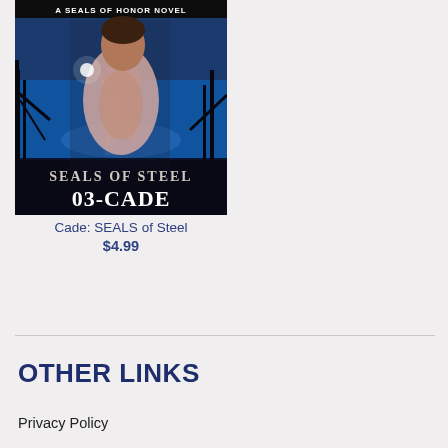[Figure (illustration): Book cover for 'Cade: SEALS of Steel' — A SEALS OF HONOR NOVEL. Shows a muscular man with open shirt against a blue-lit background. Text reads 'SEALS OF STEEL 03-CADE'.]
Cade: SEALS of Steel
$4.99
OTHER LINKS
Privacy Policy